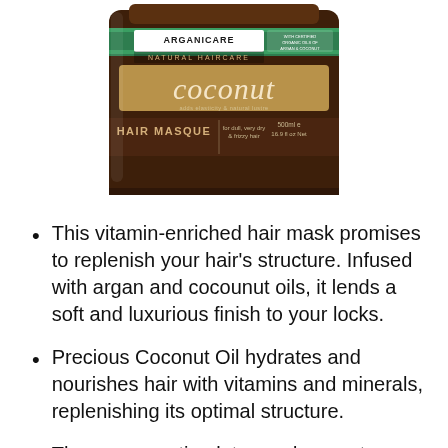[Figure (photo): Arganicare Natural Haircare Coconut Hair Masque product jar (500ml / 16.9 fl oz Net), for dull, very dry & frizzy hair, with certified organic oils of argan & coconut. Brown jar with teal/green label.]
This vitamin-enriched hair mask promises to replenish your hair's structure. Infused with argan and cocounut oils, it lends a soft and luxurious finish to your locks.
Precious Coconut Oil hydrates and nourishes hair with vitamins and minerals, replenishing its optimal structure.
The masque stimulates and promotes...